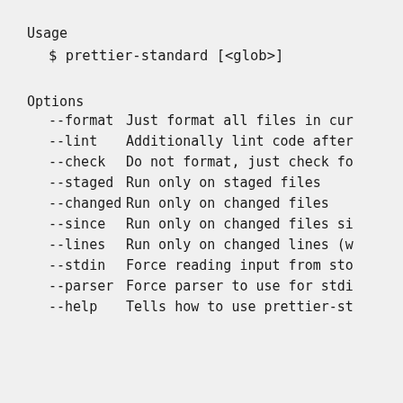Usage
$ prettier-standard [<glob>]
Options
--format   Just format all files in cur
--lint     Additionally lint code after
--check    Do not format, just check fo
--staged   Run only on staged files
--changed  Run only on changed files
--since    Run only on changed files si
--lines    Run only on changed lines (w
--stdin    Force reading input from sto
--parser   Force parser to use for stdi
--help     Tells how to use prettier-st